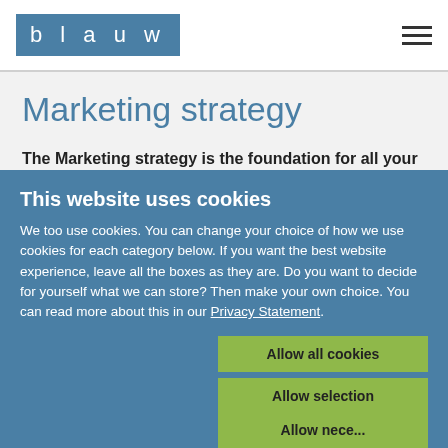blauw
Marketing strategy
The Marketing strategy is the foundation for all your marketing activities. The stronger this foundation is, the more successfully the marketing mix can be put together. We help you to come up with a strong marketing strategy by providing insight into the customer's behaviour (usage)
This website uses cookies
We too use cookies. You can change your choice of how we use cookies for each category below. If you want the best website experience, leave all the boxes as they are. Do you want to decide for yourself what we can store? Then make your own choice. You can read more about this in our Privacy Statement.
Allow all cookies
Allow selection
Allow necessary only